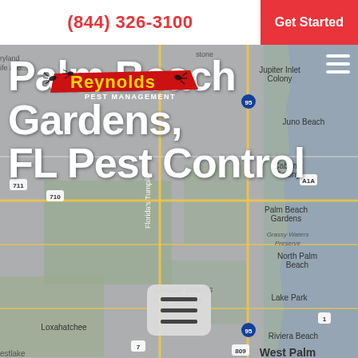(844) 326-3100  Get Started
[Figure (map): Google Maps screenshot showing Palm Beach Gardens, FL area. Visible locations include Jupiter Inlet Colony, Juno Beach, Cabana Colony, Palm Beach Gardens, North Palm Beach, Lake Park, Riviera Beach, Loxahatchee, Grassy Waters Preserve, West Palm. Roads include Florida's Turnpike, I-95, A1A, route 710, 711, 809, 7.]
[Figure (logo): Reynolds Pest Management logo — yellow and red text with pest silhouettes]
Palm Beach Gardens, FL Pest Control